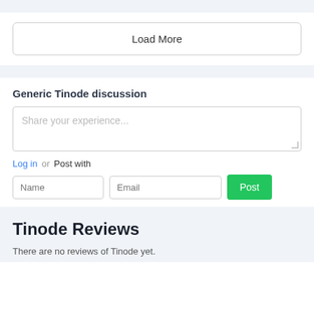Load More
Generic Tinode discussion
Share your experience...
Log in or Post with
Name
Email
Post
Tinode Reviews
There are no reviews of Tinode yet.